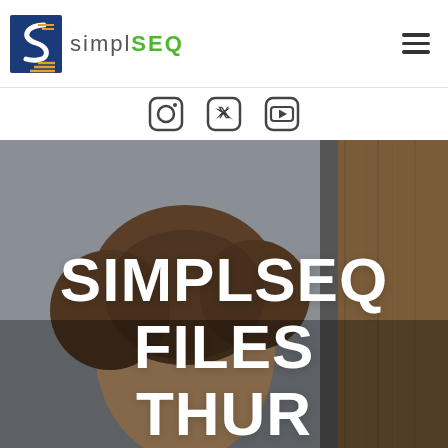[Figure (logo): SimplSEQ logo with blue S icon and text 'simplSEQ' where SEQ is in green]
[Figure (infographic): Social media icons: Instagram, Twitter, YouTube]
[Figure (photo): Background photo of a person with blurred background, partial face visible from below, wooden panel on right side]
SIMPLSEQ FILES THUR